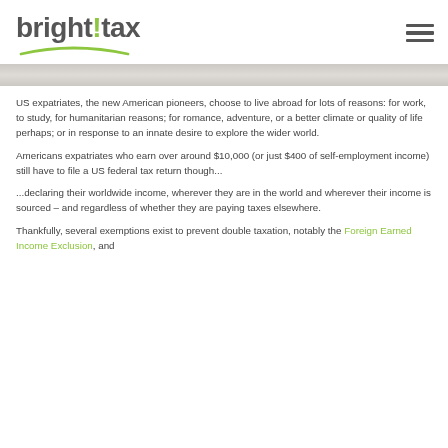bright!tax
[Figure (photo): Hero image banner showing a light marble or stone texture, partially cropped]
US expatriates, the new American pioneers, choose to live abroad for lots of reasons: for work, to study, for humanitarian reasons; for romance, adventure, or a better climate or quality of life perhaps; or in response to an innate desire to explore the wider world.
Americans expatriates who earn over around $10,000 (or just $400 of self-employment income) still have to file a US federal tax return though...
...declaring their worldwide income, wherever they are in the world and wherever their income is sourced – and regardless of whether they are paying taxes elsewhere.
Thankfully, several exemptions exist to prevent double taxation, notably the Foreign Earned Income Exclusion, and